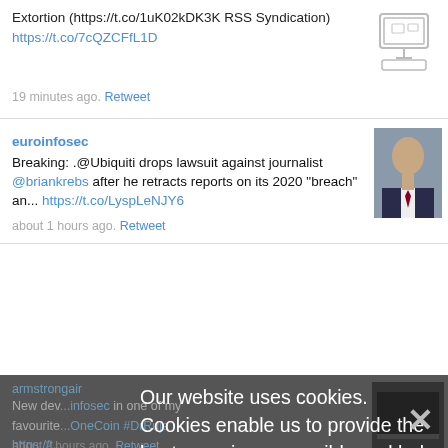Extortion (https://t.co/1uK02kDK3K RSS Syndication) https://t.co/7cQZCFfL1D
19 minutes ago. Retweet
[Figure (illustration): Sketch illustration of a computer monitor with keyboard]
euroinfosec
Breaking: .@Ubiquiti drops lawsuit against journalist @briankrebs after he retracts reports on its 2020 "breach" an... https://t.co/LyspLeNJY6
about 1 hours ago. Retweet
[Figure (photo): Photo of a man in a suit]
armstrongair
New dev... infosec in one of my favourite... OneCoin #DrRuja https://t...
about 2 hours ago. Retweet
healthin...
The national... attacking medical centers with don... man organs faces doubts about its ability to sec... https://t.co/TirxGaa4bc
Our website uses cookies. Cookies enable us to provide the best experience possible and help us understand how visitors use our website. By browsing careersinfosecurity.com, you agree to our use of cookies.